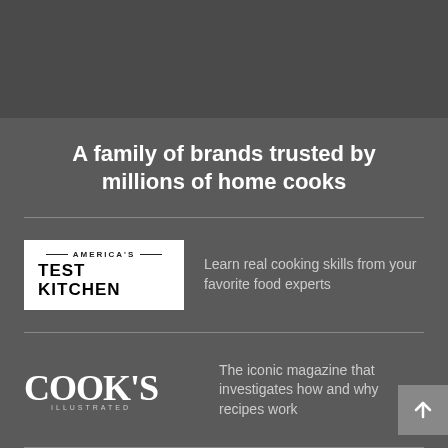A family of brands trusted by millions of home cooks
[Figure (logo): America's Test Kitchen logo — white box with 'AMERICA'S TEST KITCHEN' text in black]
Learn real cooking skills from your favorite food experts
[Figure (logo): Cook's Illustrated logo in white serif font]
The iconic magazine that investigates how and why recipes work
[Figure (logo): Cook's Country logo in white italic serif font]
American classics, everyday favorites, and